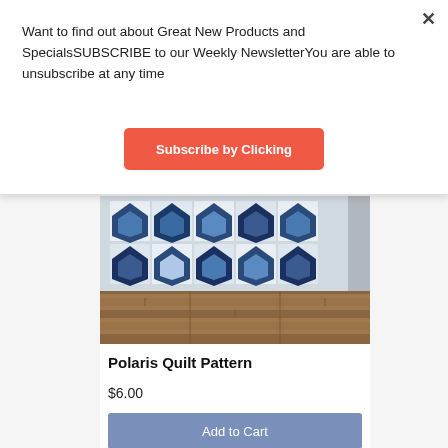Want to find out about Great New Products and SpecialsSUBSCRIBE to our Weekly NewsletterYou are able to unsubscribe at any time
Subscribe by Clicking
[Figure (photo): Photo of a blue and white geometric star/hexagon quilt pattern draped on a wooden floor]
Polaris Quilt Pattern
$6.00
Add to Cart